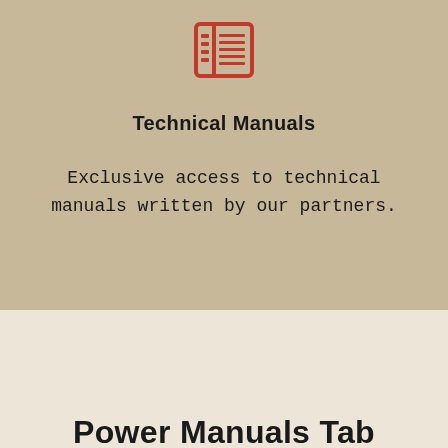[Figure (logo): Red newspaper/document icon with grid lines representing technical manuals]
Technical Manuals
Exclusive access to technical manuals written by our partners.
Power Manuals Tab